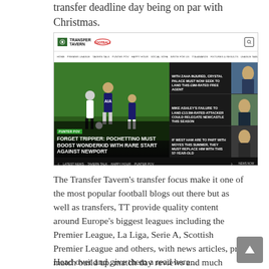transfer deadline day being on par with Christmas.
[Figure (screenshot): Screenshot of the Transfer Tavern website showing the homepage with a main article 'Forget Trippier: Pochettino Must Boost Wonderkid With Rare Start Against Newport' and three sidebar articles about Crystal Palace, Newcastle, and West Ham.]
The Transfer Tavern's transfer focus make it one of the most popular football blogs out there but as well as transfers, TT provide quality content around Europe's biggest leagues including the Premier League, La Liga, Serie A, Scottish Premier League and others, with news articles, pre-match build up, match day reviews and much more.
Head over and give them a read here...